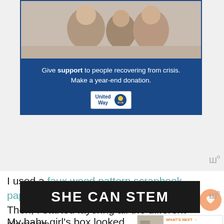[Figure (infographic): United Way advertisement banner showing a family photo above blue background with text 'Give support to people recovering from crisis. Make a year-end donation.' and United Way logo]
I used a faux wood pattern scrapbook paper for the back of the shadow box.  Then, I started layering all the different elements.
My baby girl's box looked so darling with a few more girly frills added to it.
[Figure (infographic): SHE CAN STEM advertisement banner with white bold text on dark background]